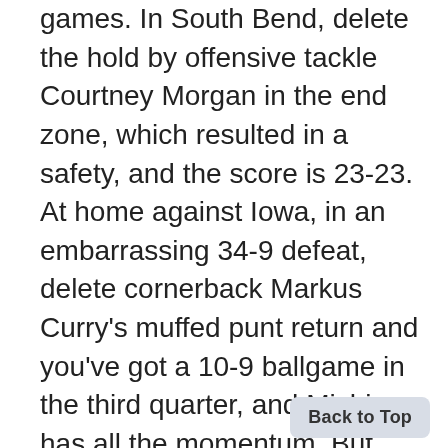games. In South Bend, delete the hold by offensive tackle Courtney Morgan in the end zone, which resulted in a safety, and the score is 23-23. At home against Iowa, in an embarrassing 34-9 defeat, delete cornerback Markus Curry's muffed punt return and you've got a 10-9 ballgame in the third quarter, and Michigan has all the momentum. But that didn't happen. When people voted the football team the best team in Ann Arbor this year, they must have neglected to
Back to Top